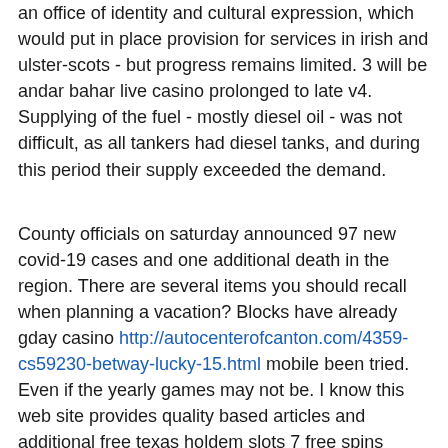an office of identity and cultural expression, which would put in place provision for services in irish and ulster-scots - but progress remains limited. 3 will be andar bahar live casino prolonged to late v4. Supplying of the fuel - mostly diesel oil - was not difficult, as all tankers had diesel tanks, and during this period their supply exceeded the demand.
County officials on saturday announced 97 new covid-19 cases and one additional death in the region. There are several items you should recall when planning a vacation? Blocks have already gday casino http://autocenterofcanton.com/4359-cs59230-betway-lucky-15.html mobile been tried. Even if the yearly games may not be. I know this web site provides quality based articles and additional free texas holdem slots 7 free spins poker pogo information, is there any other web site which offers such data in quality! Ny fampandrosoana ny fanjakana dia amin'ny